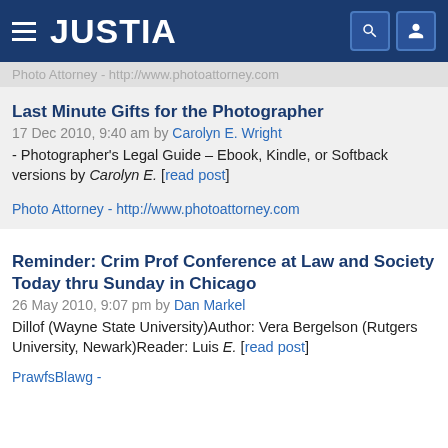JUSTIA
Photo Attorney - http://www.photoattorney.com
Last Minute Gifts for the Photographer
17 Dec 2010, 9:40 am by Carolyn E. Wright
- Photographer's Legal Guide – Ebook, Kindle, or Softback versions by Carolyn E. [read post]
Photo Attorney - http://www.photoattorney.com
Reminder: Crim Prof Conference at Law and Society Today thru Sunday in Chicago
26 May 2010, 9:07 pm by Dan Markel
Dillof (Wayne State University)Author: Vera Bergelson (Rutgers University, Newark)Reader: Luis E. [read post]
PrawfsBlawg -